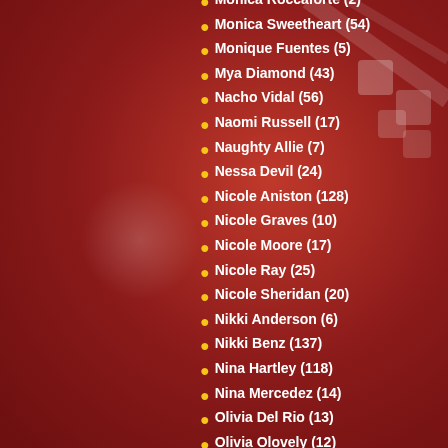Monica Roccaforte (2)
Monica Sweetheart (54)
Monique Fuentes (5)
Mya Diamond (43)
Nacho Vidal (56)
Naomi Russell (17)
Naughty Allie (7)
Nessa Devil (24)
Nicole Aniston (128)
Nicole Graves (10)
Nicole Moore (17)
Nicole Ray (25)
Nicole Sheridan (20)
Nikki Anderson (6)
Nikki Benz (137)
Nina Hartley (118)
Nina Mercedez (14)
Olivia Del Rio (13)
Olivia Olovely (12)
Pamela Anderson (6)
Paris Hilton (6)